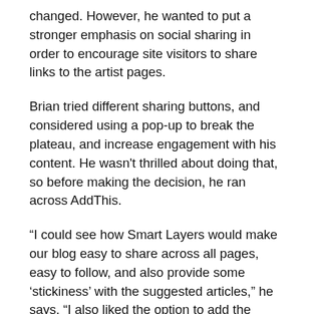changed. However, he wanted to put a stronger emphasis on social sharing in order to encourage site visitors to share links to the artist pages.
Brian tried different sharing buttons, and considered using a pop-up to break the plateau, and increase engagement with his content. He wasn't thrilled about doing that, so before making the decision, he ran across AddThis.
“I could see how Smart Layers would make our blog easy to share across all pages, easy to follow, and also provide some ‘stickiness’ with the suggested articles,” he says. “I also liked the option to add the Welcome Bar at the top. I think that was the clincher. It was what I had been looking for—a way to get users onto our mailing list after they’d seen a few images,